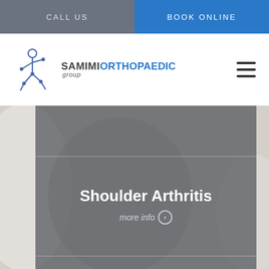CALL US
BOOK ONLINE
[Figure (logo): Samimi Orthopaedic Group logo with running figure illustration]
[Figure (photo): Person holding their shoulder, background medical photo with dark overlay panel showing Shoulder Arthritis text]
Shoulder Arthritis
more info ❯